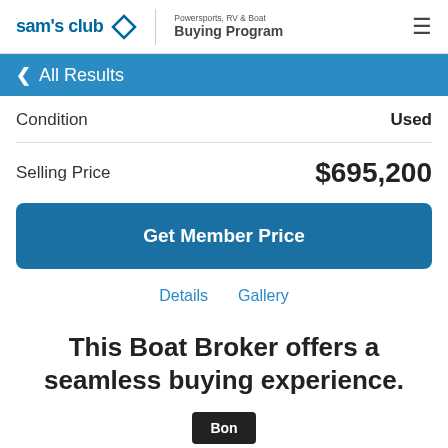sam's club | Powersports, RV & Boat Buying Program
< All Results
Condition   Used
Selling Price   $695,200
Get Member Price
Details   Gallery
This Boat Broker offers a seamless buying experience.
Bon